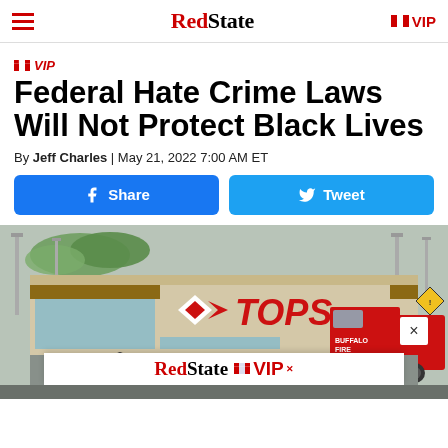RedState — VIP
VIP
Federal Hate Crime Laws Will Not Protect Black Lives
By Jeff Charles | May 21, 2022 7:00 AM ET
Share | Tweet
[Figure (photo): Exterior of Tops supermarket with Buffalo Fire truck visible and crowds outside]
RedState VIP (advertisement overlay)